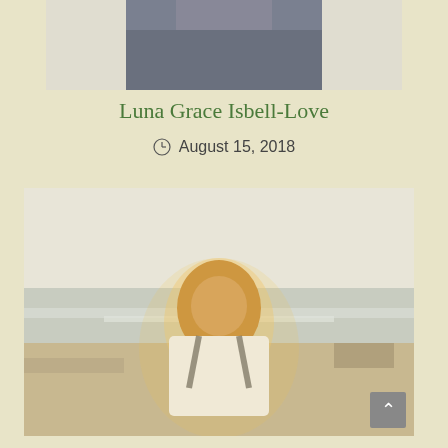[Figure (photo): Top portion of a photo showing a person in a gray/denim shirt or jeans, cropped at the torso level]
Luna Grace Isbell-Love
August 15, 2018
[Figure (photo): A man with long blond hair smiling at the beach, wearing a white shirt with suspenders, photographed in warm golden sunlight with ocean waves in the background]